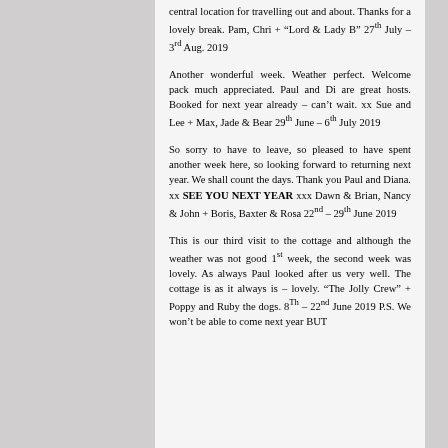central location for travelling out and about. Thanks for a lovely break. Pam, Chri + "Lord & Lady B" 27th July – 3rd Aug. 2019
Another wonderful week. Weather perfect. Welcome pack much appreciated. Paul and Di are great hosts. Booked for next year already – can't wait. xx Sue and Lee + Max, Jade & Bear 29th June – 6th July 2019
So sorry to have to leave, so pleased to have spent another week here, so looking forward to returning next year. We shall count the days. Thank you Paul and Diana. xx SEE YOU NEXT YEAR xxx Dawn & Brian, Nancy & John + Boris, Baxter & Rosa 22nd – 29th June 2019
This is our third visit to the cottage and although the weather was not good 1st week, the second week was lovely. As always Paul looked after us very well. The cottage is as it always is – lovely. "The Jolly Crew" + Poppy and Ruby the dogs. 8Th – 22nd June 2019 P.S. We won't be able to come next year BUT